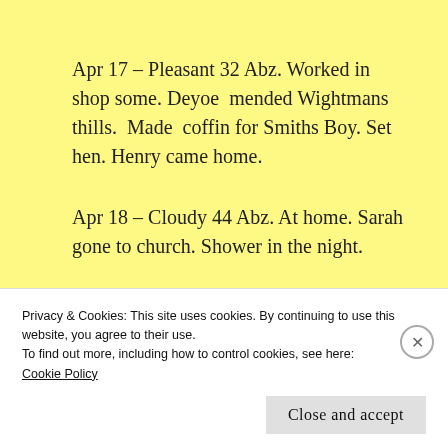Apr 17 – Pleasant 32 Abz. Worked in shop some. Deyoe mended Wightmans thills. Made coffin for Smiths Boy. Set hen. Henry came home.
Apr 18 – Cloudy 44 Abz. At home. Sarah gone to church. Shower in the night.
[Figure (photo): Person diving/flying horizontally against a bright blue sky background, arms outstretched holding a white object]
Privacy & Cookies: This site uses cookies. By continuing to use this website, you agree to their use.
To find out more, including how to control cookies, see here:
Cookie Policy
Close and accept